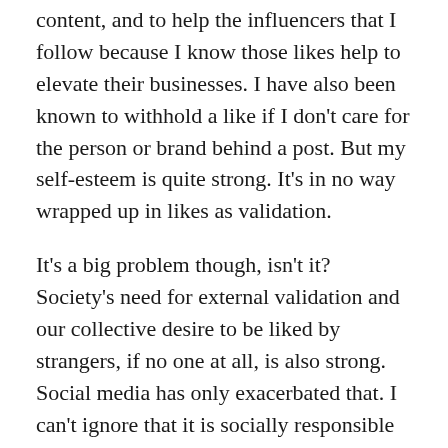content, and to help the influencers that I follow because I know those likes help to elevate their businesses. I have also been known to withhold a like if I don't care for the person or brand behind a post. But my self-esteem is quite strong. It's in no way wrapped up in likes as validation.
It's a big problem though, isn't it? Society's need for external validation and our collective desire to be liked by strangers, if no one at all, is also strong. Social media has only exacerbated that. I can't ignore that it is socially responsible of the platforms' leaders to change their tools – hopefully – for the better, for the public good.
I'll be following the experiments to see where the platforms land at the end. If the likes go the way of the dodo, it will be interesting to see how content trends